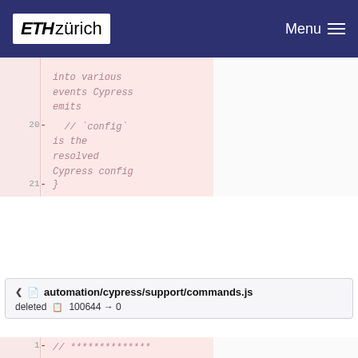ETH zürich   Menu
[Figure (screenshot): Code diff showing lines 20-21 with deleted code: line 20 has '- // `config` is the resolved Cypress config', line 21 has '- }']
automation/cypress/support/commands.js
deleted  100644 → 0
[Figure (screenshot): Code diff showing lines 1-2 with deleted code: line 1 '- // ********************************' repeated lines and line 2 '- // This example commands.js']